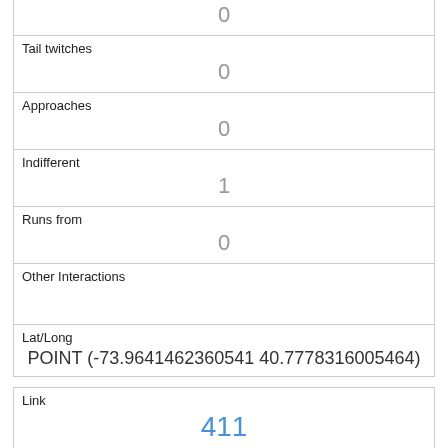| 0 |
| Tail twitches | 0 |
| Approaches | 0 |
| Indifferent | 1 |
| Runs from | 0 |
| Other Interactions |  |
| Lat/Long | POINT (-73.9641462360541 40.7778316005464) |
| Link | 411 |
| rowid | 411 |
| longitude | -73.9669366401071 |
| latitude |  |